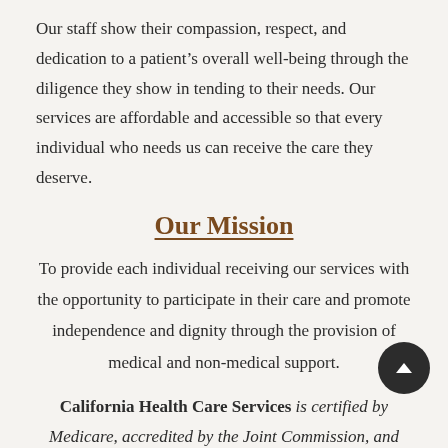Our staff show their compassion, respect, and dedication to a patient's overall well-being through the diligence they show in tending to their needs. Our services are affordable and accessible so that every individual who needs us can receive the care they deserve.
Our Mission
To provide each individual receiving our services with the opportunity to participate in their care and promote independence and dignity through the provision of medical and non-medical support.
California Health Care Services is certified by Medicare, accredited by the Joint Commission, and licensed by California Department of Public Health
Arrangements may be made for a home assessment to be